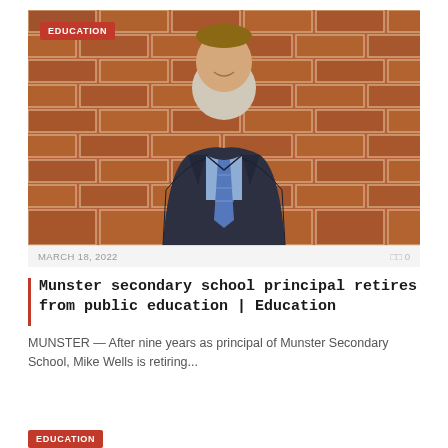[Figure (photo): Photo of a man in a dark suit and blue striped tie standing in front of a red brick wall. An 'EDUCATION' badge is overlaid in the top-left corner of the image.]
MARCH 18, 2022   0 0
Munster secondary school principal retires from public education | Education
MUNSTER — After nine years as principal of Munster Secondary School, Mike Wells is retiring...
EDUCATION